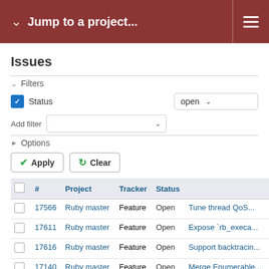Jump to a project...
Issues
Filters
Status: open
Add filter
Options
Apply   Clear
|  | # | Project | Tracker | Status | Subject |
| --- | --- | --- | --- | --- | --- |
|  | 17566 | Ruby master | Feature | Open | Tune thread QoS... |
|  | 17611 | Ruby master | Feature | Open | Expose `rb_execa... |
|  | 17616 | Ruby master | Feature | Open | Support backtracin... |
|  | 17140 | Ruby master | Feature | Open | Merge Enumerable... |
|  | 17627 | Ruby master | Feature | Open | Suggestion: Imple... collection-like clas... |
|  |  |  |  |  | Test frameworks a... |